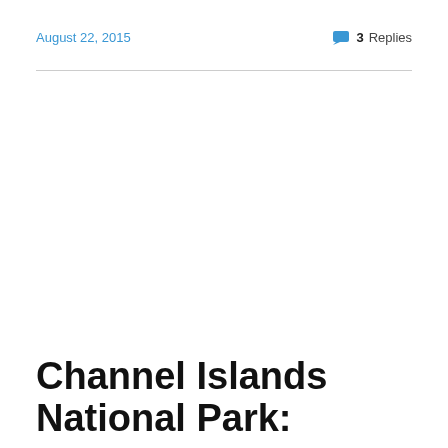August 22, 2015
3 Replies
Channel Islands National Park: